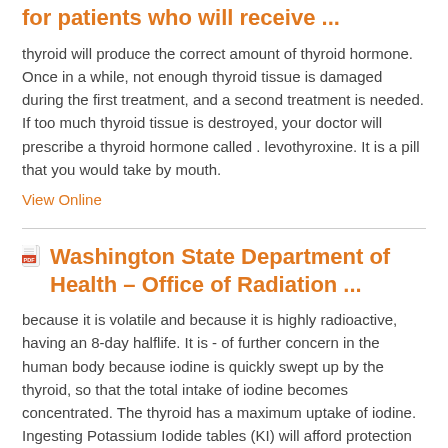for patients who will receive ...
thyroid will produce the correct amount of thyroid hormone. Once in a while, not enough thyroid tissue is damaged during the first treatment, and a second treatment is needed. If too much thyroid tissue is destroyed, your doctor will prescribe a thyroid hormone called . levothyroxine. It is a pill that you would take by mouth.
View Online
Washington State Department of Health – Office of Radiation ...
because it is volatile and because it is highly radioactive, having an 8-day halflife. It is - of further concern in the human body because iodine is quickly swept up by the thyroid, so that the total intake of iodine becomes concentrated. The thyroid has a maximum uptake of iodine. Ingesting Potassium Iodide tables (KI) will afford protection ...
View Online